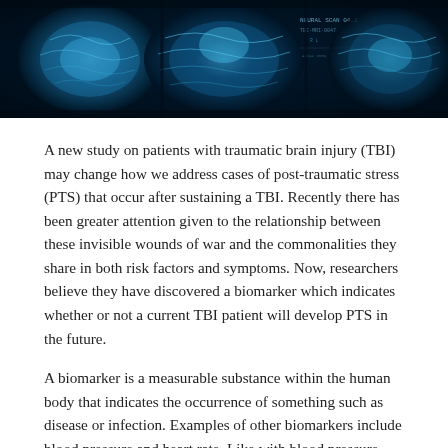[Figure (photo): Brain MRI scans and medical imaging displayed on dark blue background, showing cross-sections of human brains]
A new study on patients with traumatic brain injury (TBI) may change how we address cases of post-traumatic stress (PTS) that occur after sustaining a TBI. Recently there has been greater attention given to the relationship between these invisible wounds of war and the commonalities they share in both risk factors and symptoms. Now, researchers believe they have discovered a biomarker which indicates whether or not a current TBI patient will develop PTS in the future.
A biomarker is a measurable substance within the human body that indicates the occurrence of something such as disease or infection. Examples of other biomarkers include blood pressure and heart rate. Like with blood pressure, researches were able to look at a number of patients (400 to be exact), and monitor them. In a blood pressure study they'd be examining how blood pressure changed over a period of time. In this study, researchers were looking at